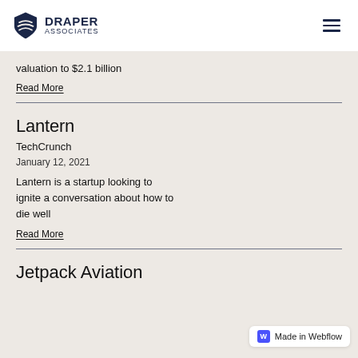DRAPER ASSOCIATES
valuation to $2.1 billion
Read More
Lantern
TechCrunch
January 12, 2021
Lantern is a startup looking to ignite a conversation about how to die well
Read More
Jetpack Aviation